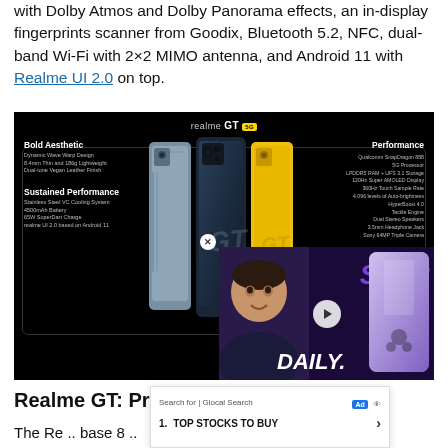with Dolby Atmos and Dolby Panorama effects, an in-display fingerprints scanner from Goodix, Bluetooth 5.2, NFC, dual-band Wi-Fi with 2×2 MIMO antenna, and Android 11 with Realme UI 2.0 on top.
[Figure (photo): Realme GT 5G promotional infographic on black background showing Bold Aesthetic, Sustained Performance specs on left, three phone models in center, and Performance specs including Qualcomm Snapdragon 888 on right. A video ad overlay in bottom-right corner shows 'SEP?' text with a purple phone and 'DAILY.' text with a person's face.]
Realme GT: Pricing &A...
The Re... base 8... or the...
Search for | Glocal Search
1. TOP STOCKS TO BUY